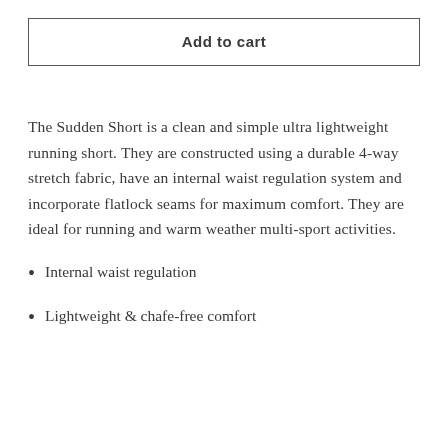Add to cart
The Sudden Short is a clean and simple ultra lightweight running short. They are constructed using a durable 4-way stretch fabric, have an internal waist regulation system and incorporate flatlock seams for maximum comfort. They are ideal for running and warm weather multi-sport activities.
Internal waist regulation
Lightweight & chafe-free comfort